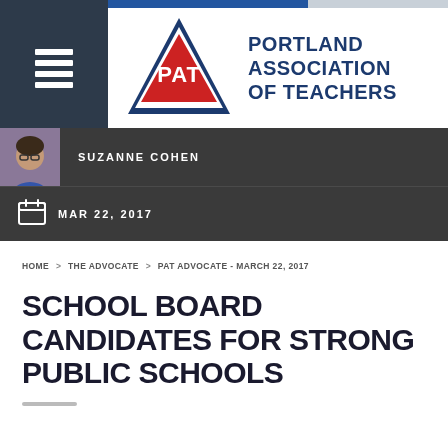[Figure (logo): Portland Association of Teachers (PAT) logo — red triangle with PAT text, dark blue outline triangle, with 'PORTLAND ASSOCIATION OF TEACHERS' text to the right]
SUZANNE COHEN
MAR 22, 2017
HOME > THE ADVOCATE > PAT ADVOCATE - MARCH 22, 2017
SCHOOL BOARD CANDIDATES FOR STRONG PUBLIC SCHOOLS